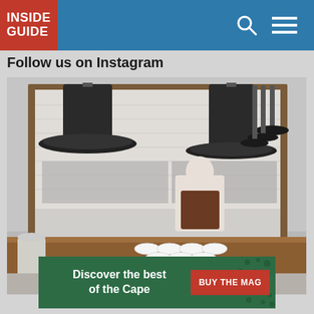INSIDE GUIDE
Follow us on Instagram
[Figure (photo): Restaurant kitchen scene with a chef in a brown apron working at a counter. Multiple black pendant lights hang from the ceiling. White bowls are lined up on a wooden counter in the foreground. The kitchen has an open-view design with industrial styling.]
[Figure (infographic): Advertisement banner with dark green background, text 'Discover the best of the Cape' in white, and a red button reading 'BUY THE MAG']